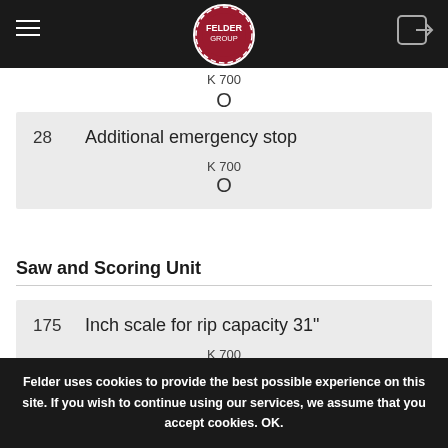Felder Group — K 700 options page
K 700
O
| # | Description | Model | Availability |
| --- | --- | --- | --- |
| 28 | Additional emergency stop | K 700 | O |
Saw and Scoring Unit
| # | Description | Model | Availability |
| --- | --- | --- | --- |
| 175 | Inch scale for rip capacity 31" | K 700 |  |
Felder uses cookies to provide the best possible experience on this site. If you wish to continue using our services, we assume that you accept cookies. OK.